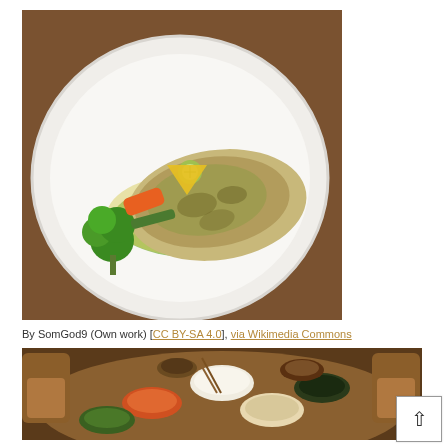[Figure (photo): A plated restaurant dish: grilled or herb-crusted fish fillet on green pea puree with butter sauce, accompanied by broccoli, carrots, zucchini, and yellow pepper, served on a large white plate on a wooden table.]
By SomGod9 (Own work) [CC BY-SA 4.0], via Wikimedia Commons
[Figure (photo): A round wooden dining table set with multiple bowls and plates of various cooked dishes, including rice, stir-fried vegetables, dark cooked greens, and other Asian-style dishes. Two wooden chairs are visible on either side.]